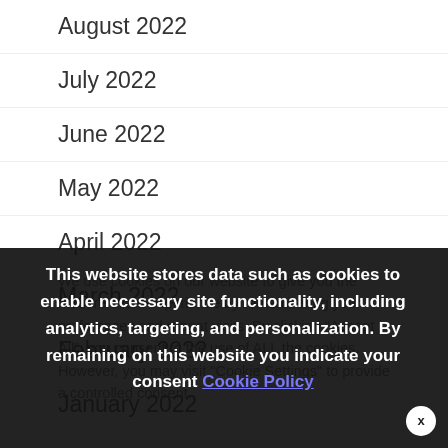August 2022
July 2022
June 2022
May 2022
April 2022
March 2022
February 2022
January 2022
We use cookies on our website to give you the most relevant experience by remembering your preferences and repeat visits. By clicking "Accept All", you consent to the use of ALL the cookies. However, you may visit "Cookie Settings" to provide a controlled consent.
This website stores data such as cookies to enable necessary site functionality, including analytics, targeting, and personalization. By remaining on this website you indicate your consent Cookie Policy